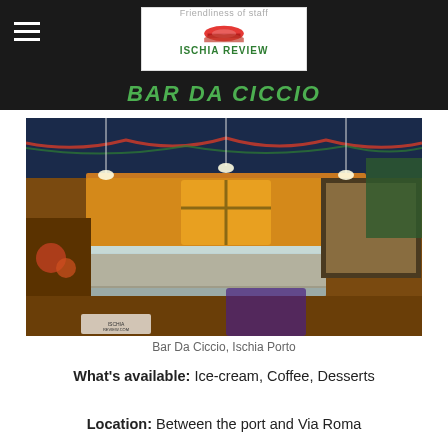Friendliness of staff
[Figure (logo): Ischia Review logo with red dome/roof icon and green ISCHIA REVIEW text]
BAR DA CICCIO
[Figure (photo): Interior of Bar Da Ciccio, Ischia Porto, decorated with Christmas garlands, showing a glass display counter with pastries and desserts, pendant lights, and festive decorations. An Ischia Review watermark is visible in the bottom left.]
Bar Da Ciccio, Ischia Porto
What's available: Ice-cream, Coffee, Desserts
Location: Between the port and Via Roma